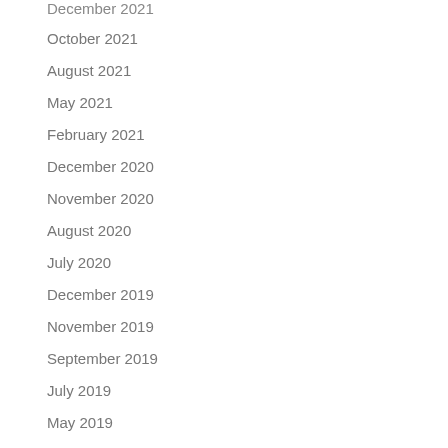December 2021
October 2021
August 2021
May 2021
February 2021
December 2020
November 2020
August 2020
July 2020
December 2019
November 2019
September 2019
July 2019
May 2019
March 2019